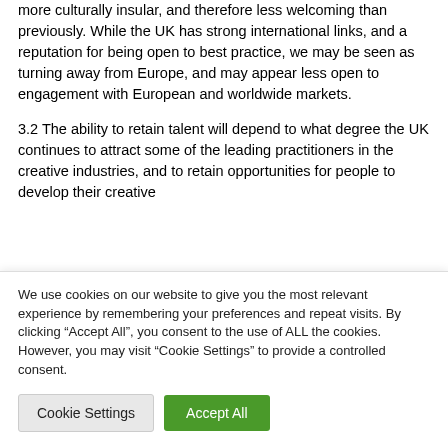more culturally insular, and therefore less welcoming than previously. While the UK has strong international links, and a reputation for being open to best practice, we may be seen as turning away from Europe, and may appear less open to engagement with European and worldwide markets.
3.2 The ability to retain talent will depend to what degree the UK continues to attract some of the leading practitioners in the creative industries, and to retain opportunities for people to develop their creative
We use cookies on our website to give you the most relevant experience by remembering your preferences and repeat visits. By clicking "Accept All", you consent to the use of ALL the cookies. However, you may visit "Cookie Settings" to provide a controlled consent.